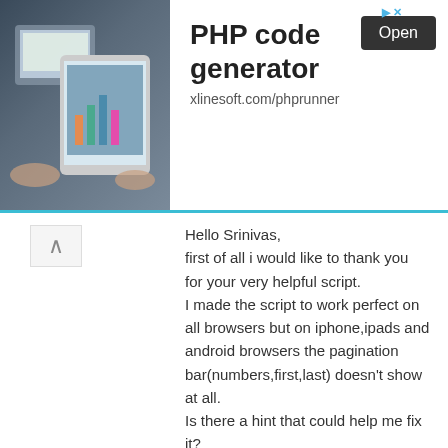[Figure (screenshot): Advertisement banner for PHP code generator by xlinesoft.com/phprunner with photo of person using tablet devices and Open button]
Hello Srinivas,
first of all i would like to thank you for your very helpful script.
I made the script to work perfect on all browsers but on iphone,ipads and android browsers the pagination bar(numbers,first,last) doesn't show at all.
Is there a hint that could help me fix it?
Reply
SIVA  SEPTEMBER 6, 2012 AT 3:30 AM
i want this coding.. but i can't..
Reply
ANONYMOUS  SEPTEMBER 6, 2012 AT 10:14 PM
Hi..this demo looks really nice! thanks for sharing..